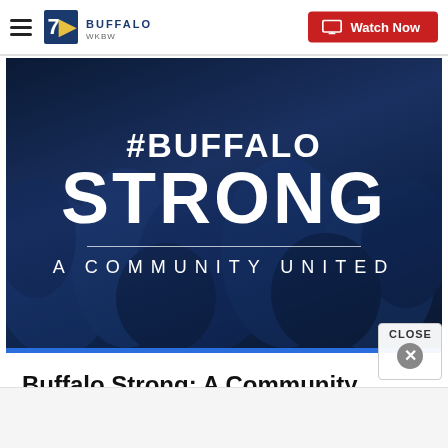7 WKBW BUFFALO | Watch Now
[Figure (photo): #BUFFALO STRONG - A COMMUNITY UNITED text over dark blue crowd background]
Buffalo Strong: A Community United